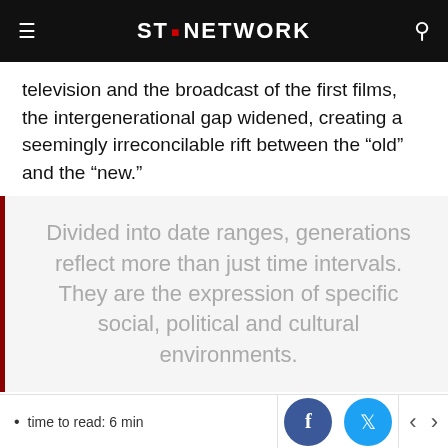ST. NETWORK
television and the broadcast of the first films, the intergenerational gap widened, creating a seemingly irreconcilable rift between the “old” and the “new.”
Divided into date ranges, generations reflect more than just time intervals. They are the expression of specific social, political and cultural environments.
time to read: 6 min